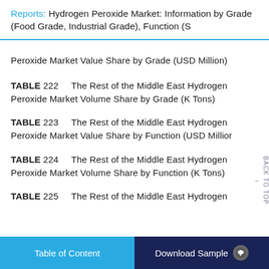Reports: Hydrogen Peroxide Market: Information by Grade (Food Grade, Industrial Grade), Function (S
Peroxide Market Value Share by Grade (USD Million)
TABLE 222    The Rest of the Middle East Hydrogen Peroxide Market Volume Share by Grade (K Tons)
TABLE 223    The Rest of the Middle East Hydrogen Peroxide Market Value Share by Function (USD Million
TABLE 224    The Rest of the Middle East Hydrogen Peroxide Market Volume Share by Function (K Tons)
TABLE 225    The Rest of the Middle East Hydrogen
Table of Content    Download Sample